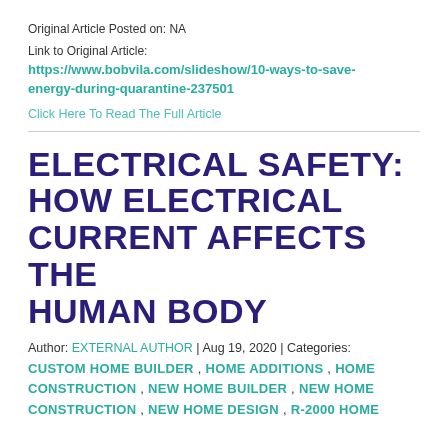Original Article Posted on: NA
Link to Original Article:
https://www.bobvila.com/slideshow/10-ways-to-save-energy-during-quarantine-237501
Click Here To Read The Full Article
ELECTRICAL SAFETY: HOW ELECTRICAL CURRENT AFFECTS THE HUMAN BODY
Author: EXTERNAL AUTHOR | Aug 19, 2020 | Categories: CUSTOM HOME BUILDER , HOME ADDITIONS , HOME CONSTRUCTION , NEW HOME BUILDER , NEW HOME CONSTRUCTION , NEW HOME DESIGN , R-2000 HOME